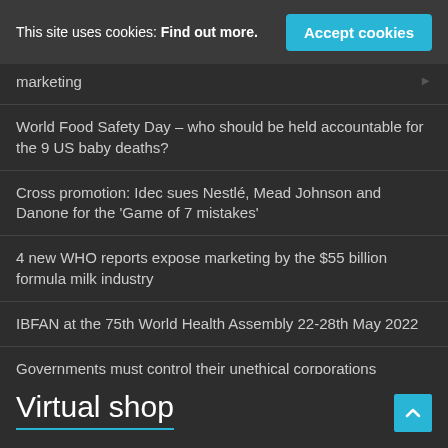This site uses cookies: Find out more. Accept cookies
marketing
World Food Safety Day – who should be held accountable for the 9 US baby deaths?
Cross promotion: Idec sues Nestlé, Mead Johnson and Danone for the 'Game of 7 mistakes'
4 new WHO reports expose marketing by the $55 billion formula milk industry
IBFAN at the 75th World Health Assembly 22-28th May 2022
Governments must control their unethical corporations
NEW: WHO UNICEF IBFAN -National implementation of the Code Status report 2022
Virtual shop